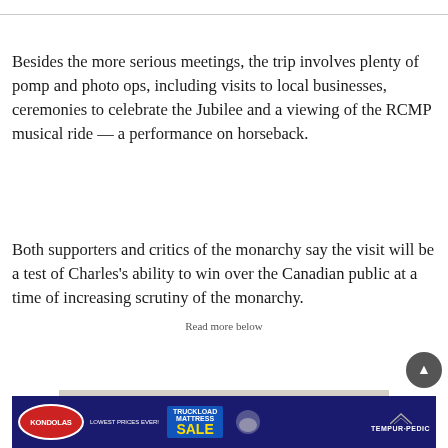Besides the more serious meetings, the trip involves plenty of pomp and photo ops, including visits to local businesses, ceremonies to celebrate the Jubilee and a viewing of the RCMP musical ride — a performance on horseback.
Both supporters and critics of the monarchy say the visit will be a test of Charles's ability to win over the Canadian public at a time of increasing scrutiny of the monarchy.
Read more below
[Figure (infographic): Advertisement banner for Kondolas Truckload Mattress Sale featuring Tempur-Pedic branding, with a partial colorful circular graphic visible in a gray box above, and the ad bar below in blue/dark navy.]